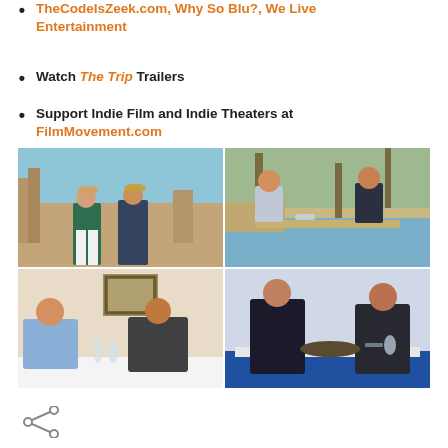TheCodeIsZeek.com, Why So Blu?, We Live Entertainment
Watch The Trip Trailers
Support Indie Film and Indie Theaters at FilmMovement.com
[Figure (photo): Four-panel photo collage from the film 'The Trip'. Top left: two men in hats standing at ancient ruins in sunlight. Top right: two men sitting at an outdoor restaurant table near a harbor. Bottom left: two men at a restaurant table indoors, laughing. Bottom right: two men sitting across from each other at a restaurant table in conversation.]
[Figure (illustration): Share icon (less-than symbol with dots) in the bottom left corner.]